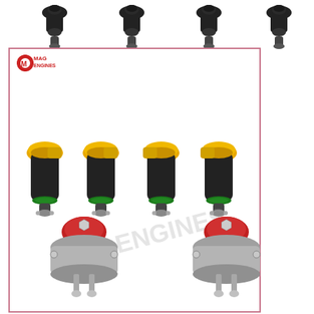[Figure (photo): Product listing image showing fuel injectors and fuel pressure regulators. Top row: 4 small black fuel injectors. Center boxed area (red/pink border, MAG ENGINES logo): 4 yellow-top black fuel injectors with green o-rings. Bottom area: 2 silver/red fuel pressure regulators.]